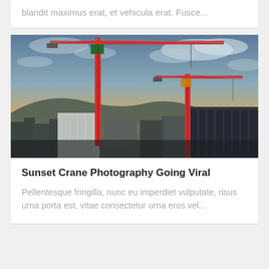blandit maximus erat, et vehicula erat. Fusce...
[Figure (photo): Photograph of two construction cranes against a dramatic sunset sky with clouds, silhouetted city buildings and hills in the background.]
Sunset Crane Photography Going Viral
Pellentesque fringilla, nunc eu imperdiet vulputate, risus urna porta est, vitae consectetur urna eros vel...